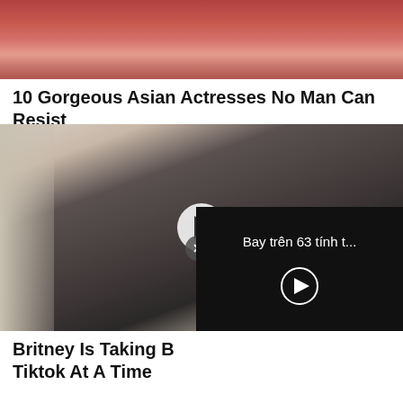[Figure (photo): Close-up photo of a woman's face showing lips and lower face with red/dark clothing]
10 Gorgeous Asian Actresses No Man Can Resist
BRAINBERRIES
[Figure (photo): Blonde woman in black leopard print outfit with arms raised, laughing, with a video play button overlay. An inset video overlay panel shows 'Bay trên 63 tính t...' text with a play button on a black background.]
Britney Is Taking B Tiktok At A Time
TRAITSLAB